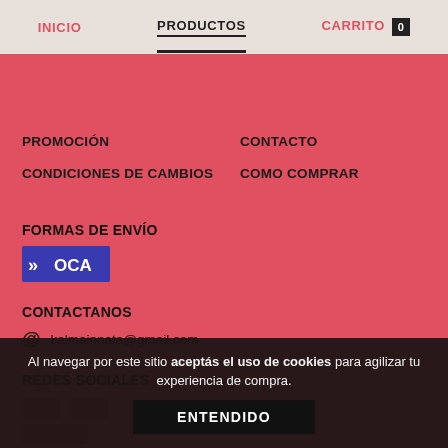INICIO | PRODUCTOS | CARRITO 0
PROMOCIÓN
CONTACTO
CONDICIONES DE CAMBIOS
COMO COMPRAR
FORMAS DE ENVÍO
[Figure (logo): OCA logistics logo — blue rectangle with double chevron arrows and OCA text in white]
CONTACTANOS
@ kalmainnata@gmail.com
REDES SOCIALES
Al navegar por este sitio aceptás el uso de cookies para agilizar tu experiencia de compra.
ENTENDIDO